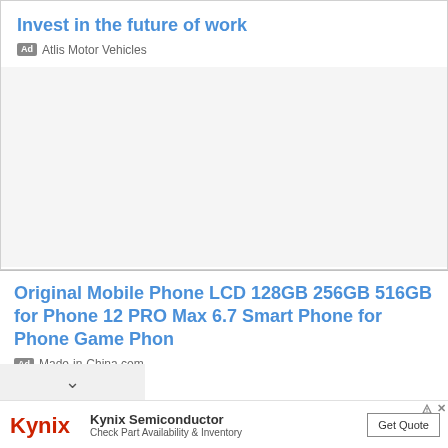Invest in the future of work
Ad  Atlis Motor Vehicles
[Figure (other): Empty advertisement image area for Atlis Motor Vehicles ad]
Original Mobile Phone LCD 128GB 256GB 516GB for Phone 12 PRO Max 6.7 Smart Phone for Phone Game Phon
Ad  Made-in-China.com
[Figure (logo): Kynix logo in red text]
Kynix Semiconductor
Check Part Availability & Inventory
Get Quote